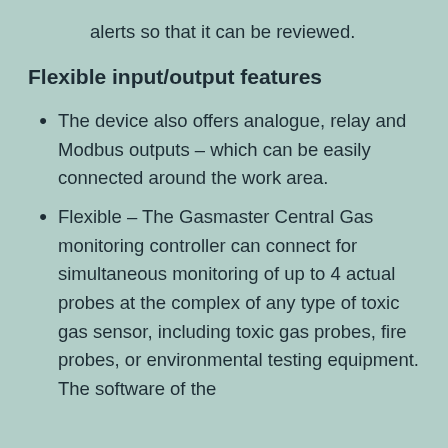alerts so that it can be reviewed.
Flexible input/output features
The device also offers analogue, relay and Modbus outputs – which can be easily connected around the work area.
Flexible – The Gasmaster Central Gas monitoring controller can connect for simultaneous monitoring of up to 4 actual probes at the complex of any type of toxic gas sensor, including toxic gas probes, fire probes, or environmental testing equipment. The software of the